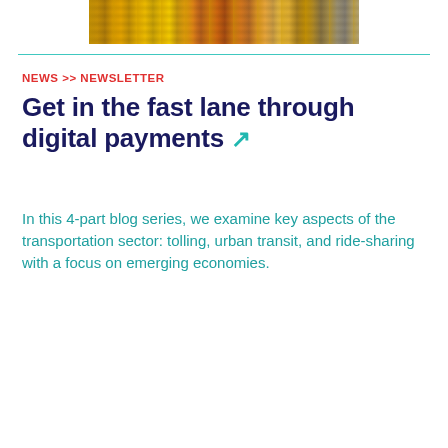[Figure (photo): Top cropped photo of Indian street traffic with yellow auto-rickshaws]
NEWS >> NEWSLETTER
Get in the fast lane through digital payments ↗
In this 4-part blog series, we examine key aspects of the transportation sector: tolling, urban transit, and ride-sharing with a focus on emerging economies.
[Figure (photo): Photo of heavy Indian street traffic with yellow auto-rickshaws, cars, buses, and pedestrians on a busy road]